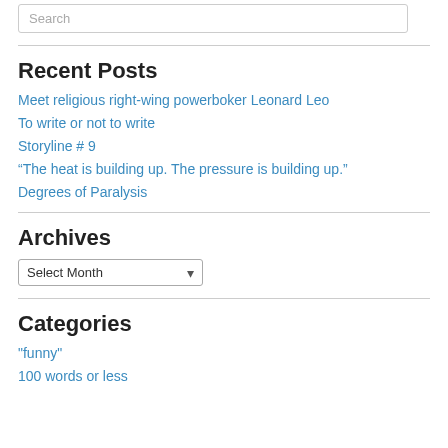Search
Recent Posts
Meet religious right-wing powerboker Leonard Leo
To write or not to write
Storyline # 9
“The heat is building up. The pressure is building up.”
Degrees of Paralysis
Archives
Select Month
Categories
"funny"
100 words or less